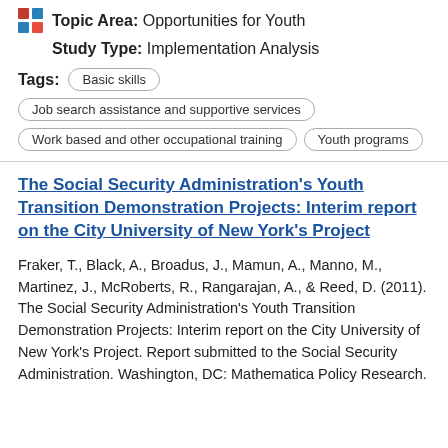Topic Area: Opportunities for Youth
Study Type: Implementation Analysis
Tags: Basic skills | Job search assistance and supportive services | Work based and other occupational training | Youth programs
The Social Security Administration's Youth Transition Demonstration Projects: Interim report on the City University of New York's Project
Fraker, T., Black, A., Broadus, J., Mamun, A., Manno, M., Martinez, J., McRoberts, R., Rangarajan, A., & Reed, D. (2011). The Social Security Administration's Youth Transition Demonstration Projects: Interim report on the City University of New York's Project. Report submitted to the Social Security Administration. Washington, DC: Mathematica Policy Research.